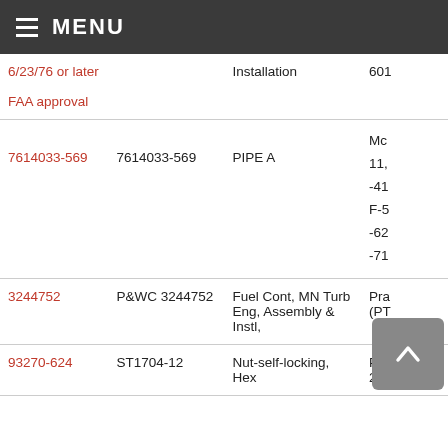MENU
| Part Number (Link) | Part Number | Description | Models |
| --- | --- | --- | --- |
| 6/23/76 or later
FAA approval |  | Installation | 601 |
| 7614033-569 | 7614033-569 | PIPE A | Mc
11,
-41
F-5
-62
-71 |
| 3244752 | P&WC 3244752 | Fuel Cont, MN Turb Eng, Assembly & Instl, | Pra
(PT |
| 93270-624 | ST1704-12 | Nut-self-locking, Hex | Pra
203 |